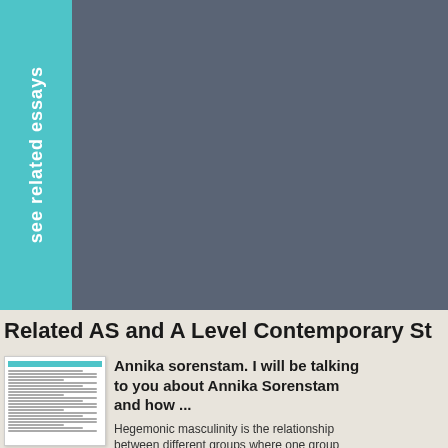[Figure (illustration): Teal sidebar tab with rotated white bold text reading 'see related essays' on a slate-grey banner background]
Related AS and A Level Contemporary St
[Figure (illustration): Thumbnail preview of an essay document with teal header bar and grey text lines]
Annika sorenstam. I will be talking to you about Annika Sorenstam and how ...
Hegemonic masculinity is the relationship between different groups where one group